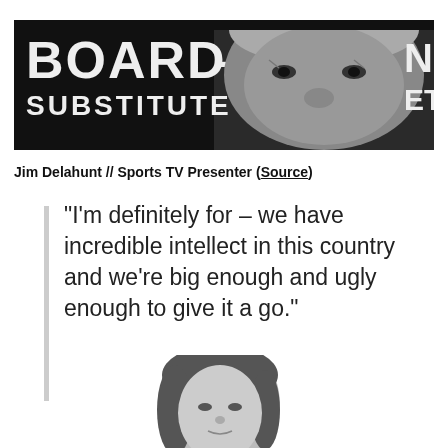[Figure (photo): Black and white close-up photo of an older man's face with text 'BOARD SUBSTITUTE' visible in the background]
Jim Delahunt // Sports TV Presenter (Source)
“I’m definitely for – we have incredible intellect in this country and we’re big enough and ugly enough to give it a go.”
[Figure (photo): Black and white photo of a woman from the shoulders up, hair down, looking at the camera]